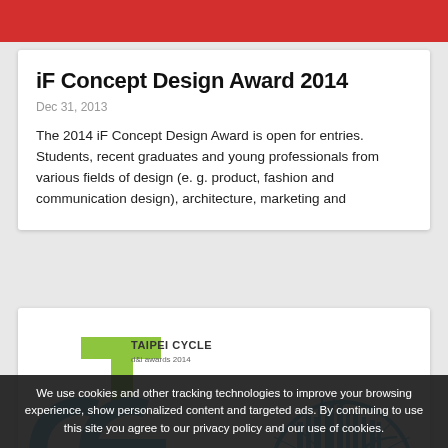iF Concept Design Award 2014
Dec 31, 2013
The 2014 iF Concept Design Award is open for entries. Students, recent graduates and young professionals from various fields of design (e. g. product, fashion and communication design), architecture, marketing and
[Figure (logo): Taipei Cycle d&i awards 2014 logo with stylized TFC letters in green and blue, and a decorative circular bicycle wheel graphic in blue on the right]
Taipei Cycle D&i Awards 2014
We use cookies and other tracking technologies to improve your browsing experience, show personalized content and targeted ads. By continuing to use this site you agree to our privacy policy and our use of cookies.